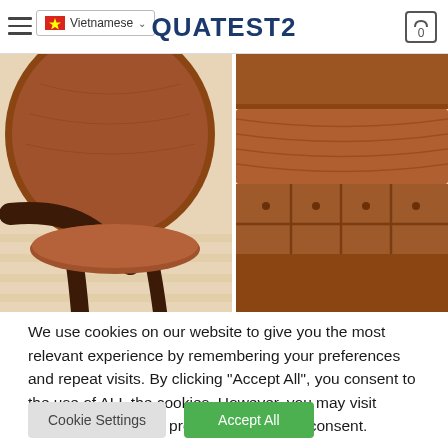QUATEST2
[Figure (photo): Two product photos side by side: left shows close-up of a brown leather chair with dark wooden leg on light wood floor; right shows close-up of tufted brown leather sofa cushion.]
We use cookies on our website to give you the most relevant experience by remembering your preferences and repeat visits. By clicking "Accept All", you consent to the use of ALL the cookies. However, you may visit "Cookie Settings" to provide a controlled consent.
Cookie Settings
Accept All